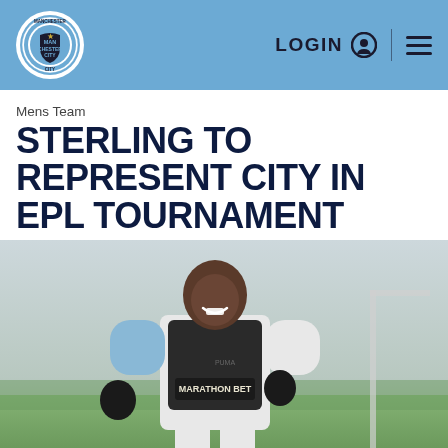LOGIN  ☰  Manchester City
Mens Team
STERLING TO REPRESENT CITY IN EPL TOURNAMENT
[Figure (photo): Raheem Sterling smiling and jogging during Manchester City training session, wearing a white and light blue long-sleeve top with Marathon Bet sponsor, black vest and black gloves, outdoor training ground in background.]